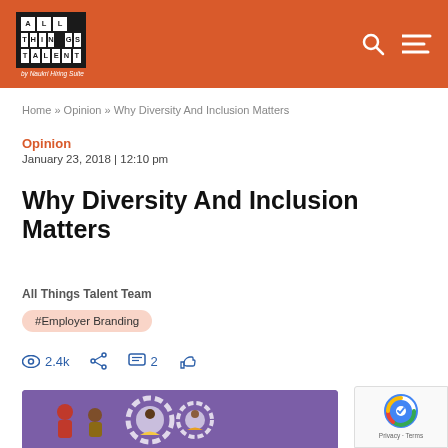ALL THINGS TALENT by Naukri Hiring Suite
Home » Opinion » Why Diversity And Inclusion Matters
Opinion
January 23, 2018 | 12:10 pm
Why Diversity And Inclusion Matters
All Things Talent Team
#Employer Branding
2.4k  2
[Figure (illustration): Diversity and inclusion themed illustration showing people with gears on a purple background]